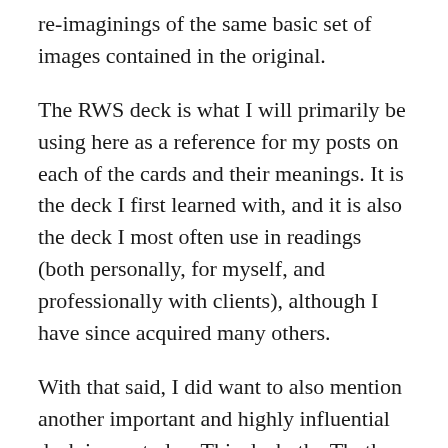re-imaginings of the same basic set of images contained in the original.
The RWS deck is what I will primarily be using here as a reference for my posts on each of the cards and their meanings. It is the deck I first learned with, and it is also the deck I most often use in readings (both personally, for myself, and professionally with clients), although I have since acquired many others.
With that said, I did want to also mention another important and highly influential deck in use today. This deck, the Thoth tarot, is one which also has its roots in the Order of the Golden Dawn. It was developed quite a bit later